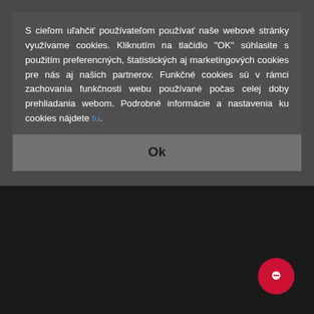S cieľom uľahčiť používateľom používať naše webové stránky využívame cookies. Kliknutím na tlačidlo "OK" súhlasite s použitím preferencných, štatistických aj marketingových cookies pre nás aj našich partnerov. Funkčné cookies sú v rámci zachovania funkčnosti webu používané počas celej doby prehliadania webom. Podrobné informácie a nastavenia ku cookies nájdete tu.
Ok
various mechanisms such as uninter protection during utility brownouts, bl power is interrupted, backup power is minutes until the diesel generator sys seconds to provide enough emergen
Server Operating Systems
Google needs of the business. Data is stored employs a code review process to inc the security products in pro e
Businesses Continuity
Google rep